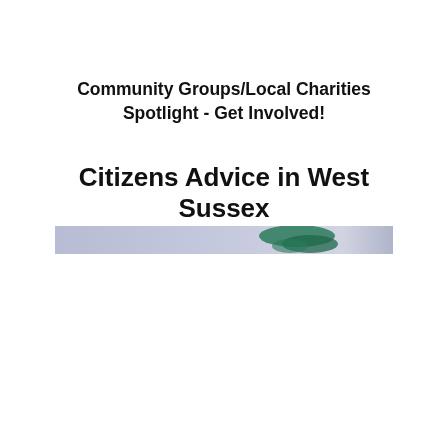Community Groups/Local Charities Spotlight - Get Involved!
Citizens Advice in West Sussex
[Figure (photo): A narrow horizontal banner image showing a blurred background in light blue-grey tones with a green Citizens Advice logo/graphic element visible on the right side.]